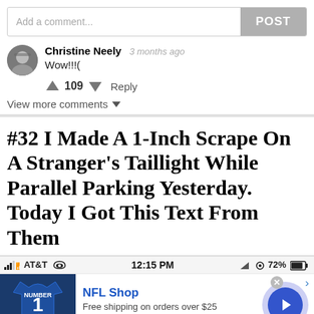Add a comment...
Christine Neely  3 months ago
Wow!!!(
109  Reply
View more comments
#32 I Made A 1-Inch Scrape On A Stranger’s Taillight While Parallel Parking Yesterday. Today I Got This Text From Them
AT&T  12:15 PM  72%
[Figure (screenshot): NFL Shop advertisement with jersey image, brand name, free shipping offer, and navigation button]